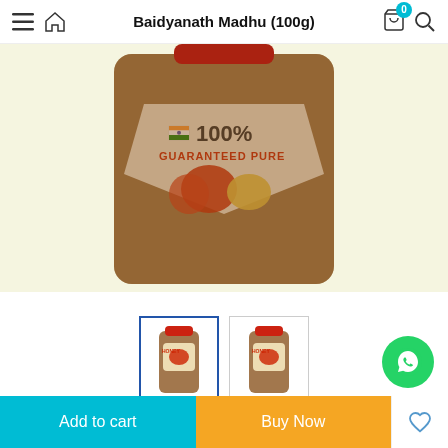Baidyanath Madhu (100g)
[Figure (photo): Close-up of Baidyanath Madhu honey jar with label showing 100% GUARANTEED PURE with Indian flag and fruits on a light yellow background]
[Figure (photo): Thumbnail 1 (selected/active): Baidyanath Madhu 100g honey bottle with red cap and label]
[Figure (photo): Thumbnail 2: Baidyanath Madhu 100g honey bottle with red cap and label]
Baidyanath Madhu (100g)